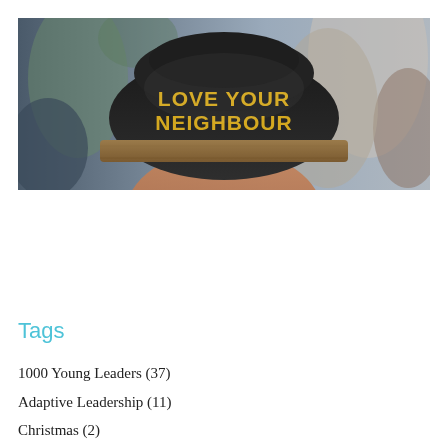[Figure (photo): A person wearing a black snapback cap with yellow text reading 'LOVE YOUR NEIGHBOUR', with a tan brim. Blurred crowd background in warm tones.]
Tags
1000 Young Leaders (37)
Adaptive Leadership (11)
Christmas (2)